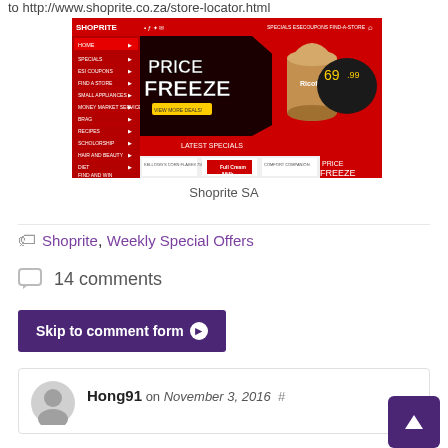to http://www.shoprite.co.za/store-locator.html
[Figure (screenshot): Screenshot of the Shoprite SA website showing the homepage with a 'Price Freeze' banner promotion, Ricoff product at 69.99, navigation menu on the left in red, and Latest Specials section below.]
Shoprite SA
Shoprite, Weekly Special Offers
14 comments
Skip to comment form
Hong91 on November 3, 2016  #